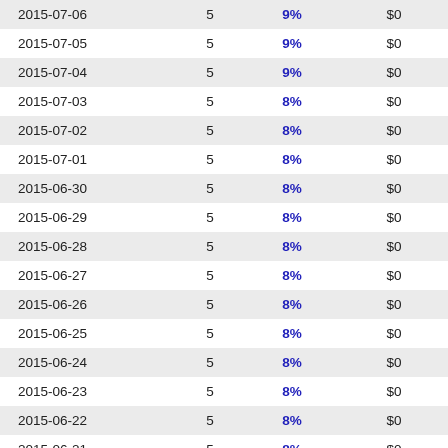| 2015-07-06 | 5 | 9% | $0 | -- |
| 2015-07-05 | 5 | 9% | $0 | -- |
| 2015-07-04 | 5 | 9% | $0 | -- |
| 2015-07-03 | 5 | 8% | $0 | -- |
| 2015-07-02 | 5 | 8% | $0 | -- |
| 2015-07-01 | 5 | 8% | $0 | -- |
| 2015-06-30 | 5 | 8% | $0 | -- |
| 2015-06-29 | 5 | 8% | $0 | -- |
| 2015-06-28 | 5 | 8% | $0 | -- |
| 2015-06-27 | 5 | 8% | $0 | -- |
| 2015-06-26 | 5 | 8% | $0 | -- |
| 2015-06-25 | 5 | 8% | $0 | -- |
| 2015-06-24 | 5 | 8% | $0 | -- |
| 2015-06-23 | 5 | 8% | $0 | -- |
| 2015-06-22 | 5 | 8% | $0 | -- |
| 2015-06-21 | 5 | 8% | $0 | -- |